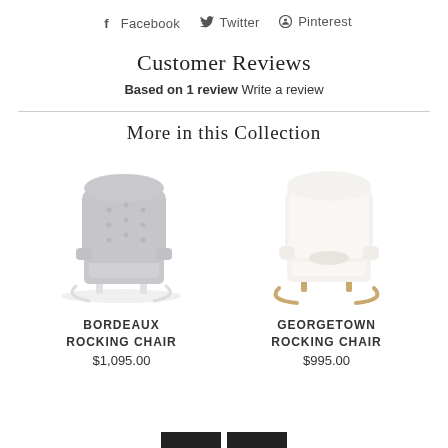f Facebook  Twitter  Pinterest
Customer Reviews
Based on 1 review Write a review
More in this Collection
[Figure (photo): Bordeaux Rocking Chair - grey tufted upholstered rocking chair with white rockers]
BORDEAUX ROCKING CHAIR
$1,095.00
[Figure (photo): Georgetown Rocking Chair - white upholstered rocking chair with wooden rockers]
GEORGETOWN ROCKING CHAIR
$995.00